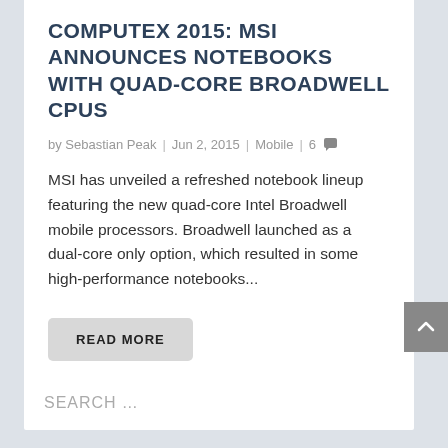COMPUTEX 2015: MSI ANNOUNCES NOTEBOOKS WITH QUAD-CORE BROADWELL CPUS
by Sebastian Peak | Jun 2, 2015 | Mobile | 6
MSI has unveiled a refreshed notebook lineup featuring the new quad-core Intel Broadwell mobile processors. Broadwell launched as a dual-core only option, which resulted in some high-performance notebooks...
READ MORE
SEARCH ...